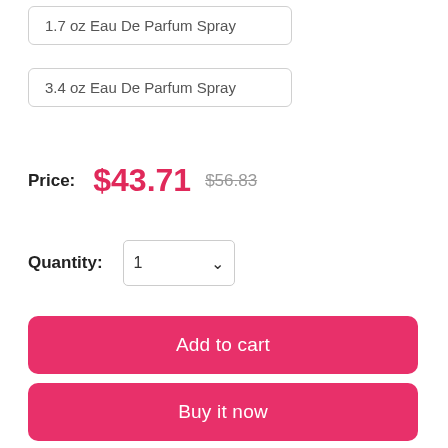1.7 oz Eau De Parfum Spray
3.4 oz Eau De Parfum Spray
Price: $43.71 $56.83
Quantity: 1
Add to cart
Buy it now
Share this product